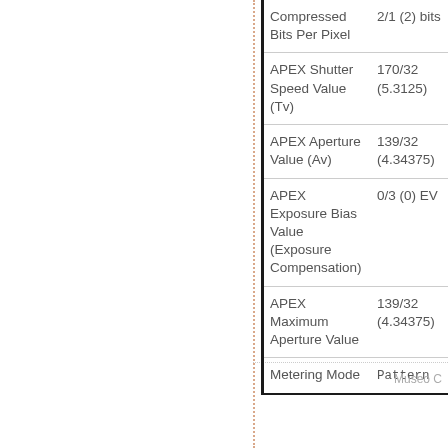| Field | Value |
| --- | --- |
| Compressed Bits Per Pixel | 2/1 (2) bits |
| APEX Shutter Speed Value (Tv) | 170/32 (5.3125) |
| APEX Aperture Value (Av) | 139/32 (4.34375) |
| APEX Exposure Bias Value (Exposure Compensation) | 0/3 (0) EV |
| APEX Maximum Aperture Value | 139/32 (4.34375) |
| Metering Mode | Pattern |
Museo C